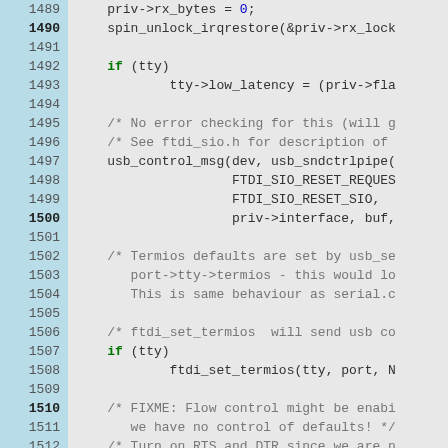[Figure (screenshot): Source code viewer showing C code lines 1489–1518 with line numbers in blue column on left and code on gray background. Keywords 'if' and 'set_mctrl' appear bold/green. Comments in gray italic monospace.]